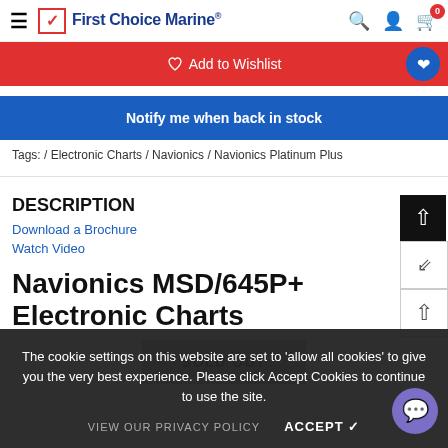First Choice Marine
[Figure (screenshot): Add to Wishlist red button with heart icon circle]
Notify me when back in stock
Tags: / Electronic Charts / Navionics / Navionics Platinum Plus
DESCRIPTION
The cookie settings on this website are set to 'allow all cookies' to give you the very best experience. Please click Accept Cookies to continue to use the site.
VIEW OUR PRIVACY POLICY   ACCEPT ✓
Navionics MSD/645P+ Electronic Charts
SOLD OUT